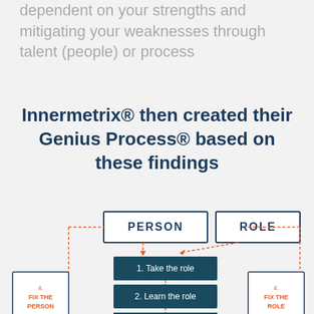dependent on your strengths and mitigating your weaknesses through talent (people) or process
Innermetrix® then created their Genius Process® based on these findings
[Figure (flowchart): Flowchart showing PERSON and ROLE boxes at top connected by dashed lines to a central vertical process flow with steps: 1. Take the role, 2. Learn the role, 3. Identify Gaps. Side boxes labeled '4. FIX THE PERSON' on the left and '4. FIX THE ROLE' on the right connected with dashed lines.]